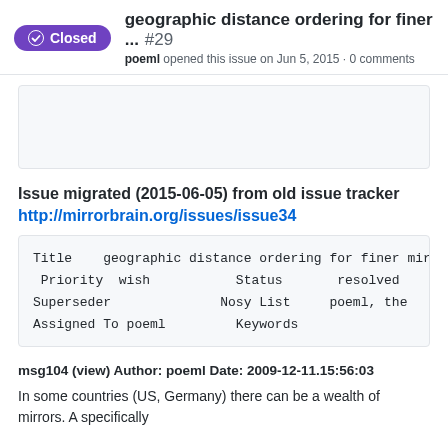geographic distance ordering for finer ... #29 poeml opened this issue on Jun 5, 2015 · 0 comments
[Figure (other): Gray placeholder box]
Issue migrated (2015-06-05) from old issue tracker http://mirrorbrain.org/issues/issue34
| Title | geographic distance ordering for finer mir |
| Priority | wish | Status | resolved |
| Superseder |  | Nosy List | poeml, the |
| Assigned To | poeml | Keywords |  |
msg104 (view) Author: poeml Date: 2009-12-11.15:56:03
In some countries (US, Germany) there can be a wealth of mirrors. A specifically